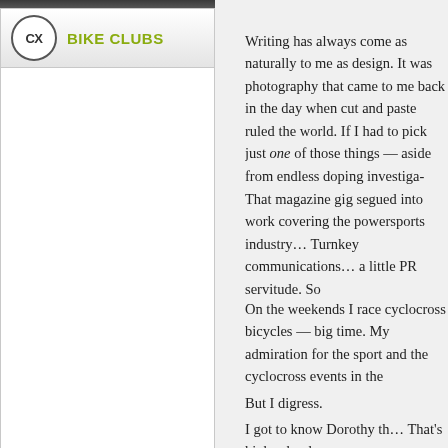[Figure (logo): CX circular logo icon with text BIKE CLUBS in olive/yellow-green color, sidebar widget header]
JOIN A CLUB
Writing has always come as naturally to me as design. It was photography that came to me back in the day when cut and paste ruled the world. If I had to pick just one of those things — aside from endless doping investiga-
That magazine gig segued into work covering the powersports industry… Turnkey communications… a little PR servitude. So
On the weekends I race cyclocross bicycles — big time. My admiration for the sport and the cyclocross events in the
But I digress.
I got to know Dorothy th… That's high school mo-